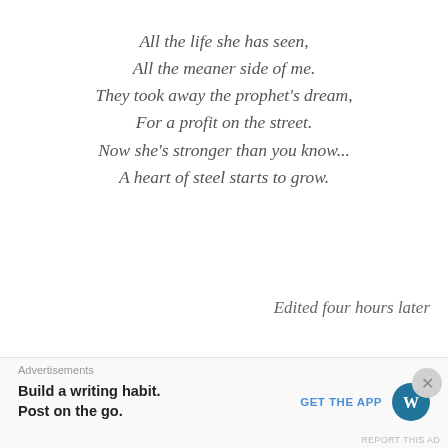All the life she has seen,
All the meaner side of me.
They took away the prophet's dream,
For a profit on the street.
Now she's stronger than you know...
A heart of steel starts to grow.
Edited four hours later
[Figure (screenshot): YouTube video thumbnail for 'The Script - Superheroes (Offic...' with dark purple background, band avatar photo, and video menu icon]
Advertisements
Build a writing habit. Post on the go.
GET THE APP